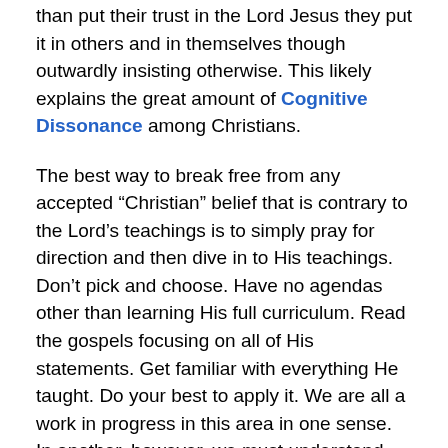than put their trust in the Lord Jesus they put it in others and in themselves though outwardly insisting otherwise. This likely explains the great amount of Cognitive Dissonance among Christians.
The best way to break free from any accepted “Christian” belief that is contrary to the Lord’s teachings is to simply pray for direction and then dive in to His teachings. Don’t pick and choose. Have no agendas other than learning His full curriculum. Read the gospels focusing on all of His statements. Get familiar with everything He taught. Do your best to apply it. We are all a work in progress in this area in one sense. In another, however, we must understand that the early members of His initial Community immediately hit the ground running from the very start. They didn’t know everything as individuals but were always open to instruction; they acted on what they